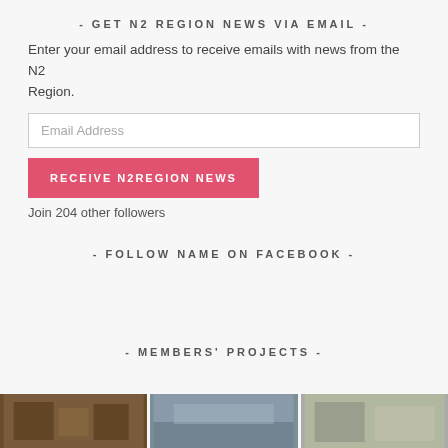- GET N2 REGION NEWS VIA EMAIL -
Enter your email address to receive emails with news from the N2 Region.
Email Address
RECEIVE N2REGION NEWS
Join 204 other followers
- FOLLOW NAME ON FACEBOOK -
- MEMBERS' PROJECTS -
[Figure (photo): Three thumbnail photos of members' projects shown at the bottom of the page]